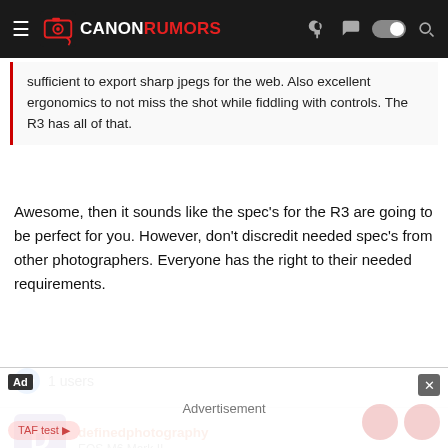CANONRUMORS
sufficient to export sharp jpegs for the web. Also excellent ergonomics to not miss the shot while fiddling with controls. The R3 has all of that.
Awesome, then it sounds like the spec's for the R3 are going to be perfect for you. However, don't discredit needed spec's from other photographers. Everyone has the right to their needed requirements.
1 users
definedphotography
EOS M6 Mark II